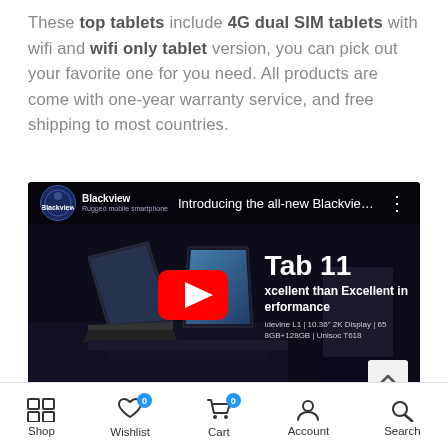These top tablets include 4G dual SIM tablets with wifi and wifi only tablet version, you can pick out your favorite one for you need. All products are come with one-year warranty service, and free shipping to most countries.
[Figure (screenshot): YouTube video thumbnail for Blackview Tab 11 tablet. Dark background showing multiple tablets/laptops on display stands. Title reads 'Introducing the all-new Blackview T...' with YouTube play button. Text overlay shows 'Tab 11', 'Xcellent than Excellent in Performance', 'Widevine L1 | 10.36" 2K Display | 65... 8GB+128GB | Unisoc T618']
Shop | Wishlist 0 | Cart 0 | Account | Search